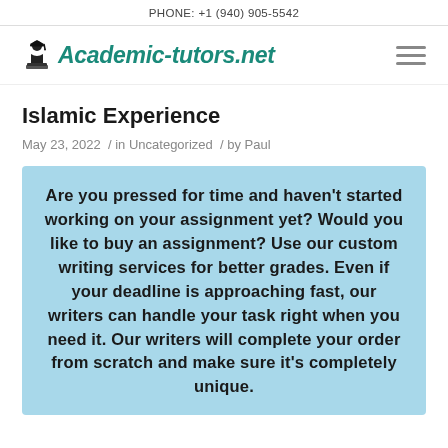PHONE: +1 (940) 905-5542
[Figure (logo): Academic-tutors.net logo with graduation cap icon and teal italic bold text]
Islamic Experience
May 23, 2022 / in Uncategorized / by Paul
Are you pressed for time and haven't started working on your assignment yet? Would you like to buy an assignment? Use our custom writing services for better grades. Even if your deadline is approaching fast, our writers can handle your task right when you need it. Our writers will complete your order from scratch and make sure it's completely unique.